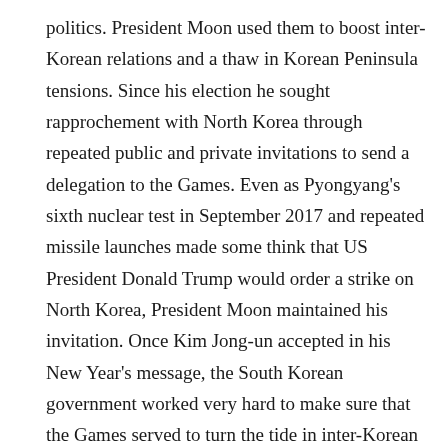politics. President Moon used them to boost inter-Korean relations and a thaw in Korean Peninsula tensions. Since his election he sought rapprochement with North Korea through repeated public and private invitations to send a delegation to the Games. Even as Pyongyang's sixth nuclear test in September 2017 and repeated missile launches made some think that US President Donald Trump would order a strike on North Korea, President Moon maintained his invitation. Once Kim Jong-un accepted in his New Year's message, the South Korean government worked very hard to make sure that the Games served to turn the tide in inter-Korean relations. Kim Yo-jong's unanticipated visit turned out to be very successful, as proven by preparations from both Koreas for a host of summits involving different players in Korean Peninsula affairs in the coming months. Inter-Korean rapprochement would have most probably happened without the Games, since the Moon government has repeatedly emphasized its engagement policy. However, the Games helped to accelerate the process and provided a useful cover